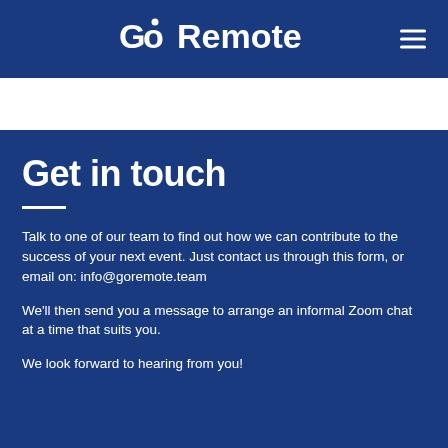Go Remote
Get in touch
Talk to one of our team to find out how we can contribute to the success of your next event. Just contact us through this form, or email on: info@goremote.team
We'll then send you a message to arrange an informal Zoom chat at a time that suits you.
We look forward to hearing from you!